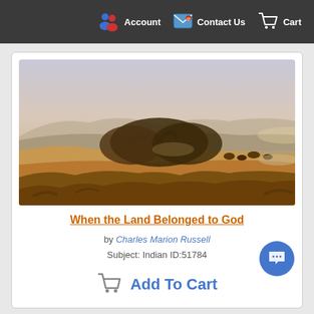Account  Contact Us  Cart
[Figure (illustration): Painting titled 'When the Land Belonged to God' by Charles Marion Russell. A wide landscape scene with rolling hills, dark trees, scattered animals (buffalo) on golden grasslands, and mountains in the background under a pale sky.]
When the Land Belonged to God
by Charles Marion Russell
Subject: Indian ID:51784
Add To Cart